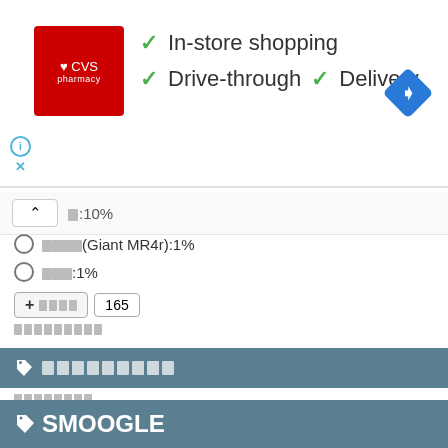[Figure (screenshot): CVS Pharmacy advertisement banner showing In-store shopping, Drive-through, and Delivery options with checkmarks, CVS logo on left and blue navigation diamond icon on right]
□:10%
○□□□(Giant MR4r):1%
○□□:1%
+ □□□□   165
□□□□□□□□□
🏷□□□□□□□□
□□□□□□□□
□□□□□□□□□□
🏷SMOOGLE